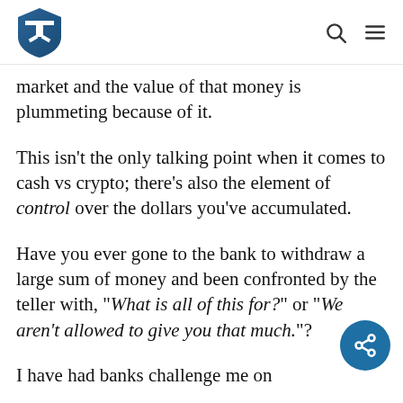[Logo: shield icon with T/F symbol] [search icon] [menu icon]
market and the value of that money is plummeting because of it.
This isn't the only talking point when it comes to cash vs crypto; there's also the element of control over the dollars you've accumulated.
Have you ever gone to the bank to withdraw a large sum of money and been confronted by the teller with, "What is all of this for?" or "We aren't allowed to give you that much."?
I have had banks challenge me on